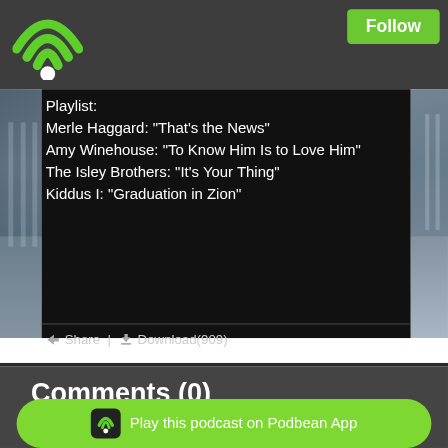[Figure (logo): Green WiFi signal icon with white dot, Podbean app logo in top-left corner on dark gray header bar]
Follow
Playlist:
Merle Haggard: "That's the News"
Amy Winehouse: "To Know Him Is to Love Him"
The Isley Brothers: "It's Your Thing"
Kiddus I: "Graduation in Zion"
Share  |  Download(909)
Comments (0)
To leave or reply comments, please download free Podbe...
Play this podcast on Podbean App